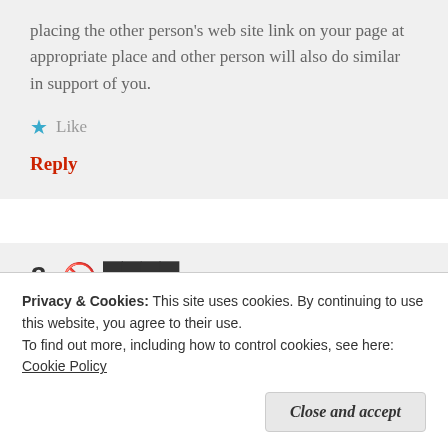placing the other person's web site link on your page at appropriate place and other person will also do similar in support of you.
★ Like
Reply
Privacy & Cookies: This site uses cookies. By continuing to use this website, you agree to their use.
To find out more, including how to control cookies, see here: Cookie Policy
Close and accept